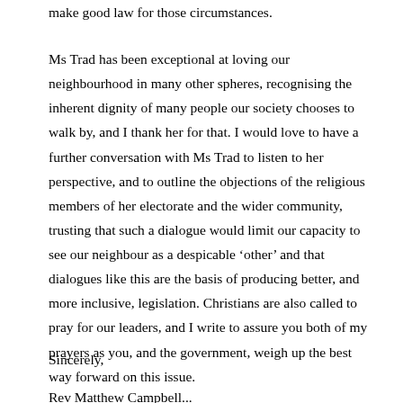make good law for those circumstances.
Ms Trad has been exceptional at loving our neighbourhood in many other spheres, recognising the inherent dignity of many people our society chooses to walk by, and I thank her for that. I would love to have a further conversation with Ms Trad to listen to her perspective, and to outline the objections of the religious members of her electorate and the wider community, trusting that such a dialogue would limit our capacity to see our neighbour as a despicable ‘other’ and that dialogues like this are the basis of producing better, and more inclusive, legislation. Christians are also called to pray for our leaders, and I write to assure you both of my prayers as you, and the government, weigh up the best way forward on this issue.
Sincerely,
Rev Matthew Campbell...